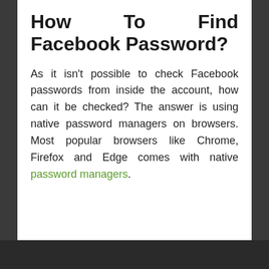How To Find Facebook Password?
As it isn't possible to check Facebook passwords from inside the account, how can it be checked? The answer is using native password managers on browsers. Most popular browsers like Chrome, Firefox and Edge comes with native password managers.